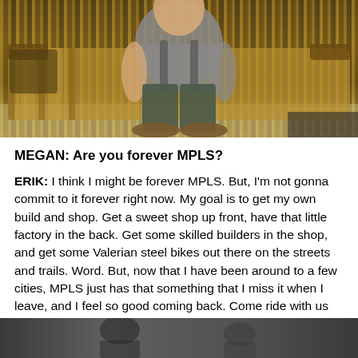[Figure (photo): A person sitting on a striped golden/brown couch, wearing dark pants and brown shoes, viewed from the midsection down. Indoor setting.]
MEGAN: Are you forever MPLS?
ERIK: I think I might be forever MPLS. But, I'm not gonna commit to it forever right now. My goal is to get my own build and shop. Get a sweet shop up front, have that little factory in the back. Get some skilled builders in the shop, and get some Valerian steel bikes out there on the streets and trails. Word. But, now that I have been around to a few cities, MPLS just has that something that I miss it when I leave, and I feel so good coming back. Come ride with us and maybe you'll feel it too.
[Figure (photo): Partial view of a second photo at the bottom of the page, appears to show a person or people in a darker setting.]